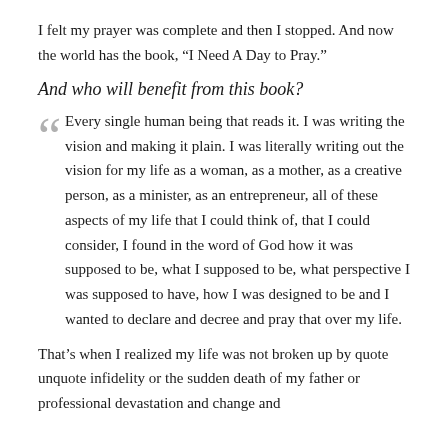I felt my prayer was complete and then I stopped. And now the world has the book, “I Need A Day to Pray.”
And who will benefit from this book?
Every single human being that reads it. I was writing the vision and making it plain. I was literally writing out the vision for my life as a woman, as a mother, as a creative person, as a minister, as an entrepreneur, all of these aspects of my life that I could think of, that I could consider, I found in the word of God how it was supposed to be, what I supposed to be, what perspective I was supposed to have, how I was designed to be and I wanted to declare and decree and pray that over my life.
That’s when I realized my life was not broken up by quote unquote infidelity or the sudden death of my father or professional devastation and change and